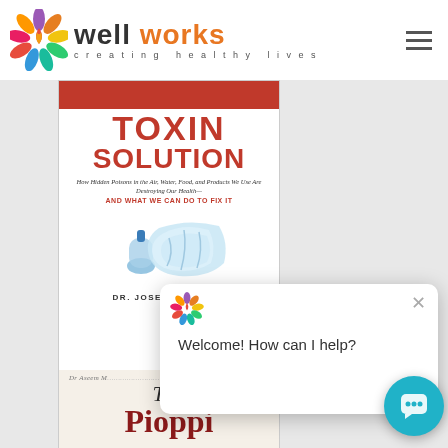well works - creating healthy lives
[Figure (photo): Screenshot of a wellness website (wellworks.com) showing a page header with the Well Works logo (colorful flower and 'well works creating healthy lives' text), two book covers partially visible: 'Toxin Solution' by Dr. Joseph Pizzorn and 'The Pioppi' by Dr. Aseem Malhotra, with a chat popup overlay saying 'Welcome! How can I help?' and a teal chat bubble icon in the bottom right corner.]